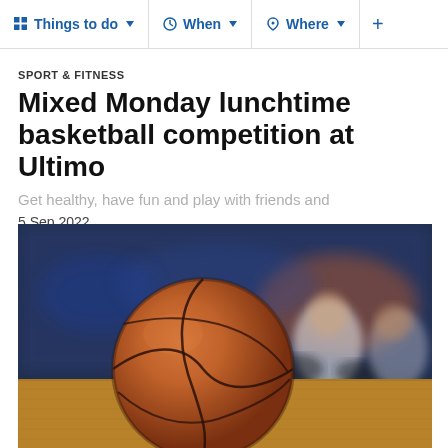Things to do  When  Where  +
SPORT & FITNESS
Mixed Monday lunchtime basketball competition at Ultimo
Get healthy, have fun and play with friends and
5 Sep 2022
[Figure (photo): Close-up of a basketball on a hardwood court floor with blurred basketball players sitting in the background]